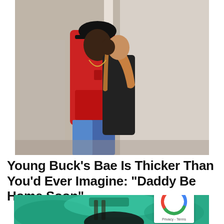[Figure (photo): Two people standing close together about to kiss indoors. One person wearing a red hoodie and black cap, the other wearing a black outfit with long blonde/auburn hair. Interior setting with white walls.]
Young Buck's Bae Is Thicker Than You'd Ever Imagine: "Daddy Be Home Soon" –
[Figure (photo): Close-up image with a teal/green tint showing what appears to be a gym or fitness equipment setting, partially obscured.]